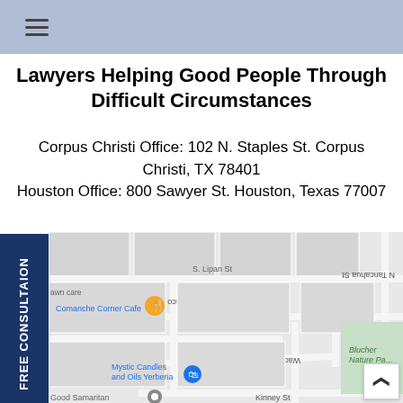Lawyers Helping Good People Through Difficult Circumstances
Corpus Christi Office: 102 N. Staples St. Corpus Christi, TX 78401
Houston Office: 800 Sawyer St. Houston, Texas 77007
[Figure (map): Google Maps screenshot showing street map of Corpus Christi area near 800 Sawyer St, featuring streets including Caldwell St, Blucher St, Kinney St, Waco St, S Carrizo, Comanche St, and landmarks including Comanche Corner Cafe, Mystic Candles and Oils Yerberia, Blucher Nature Park, Good Samaritan]
FREE CONSULTAION